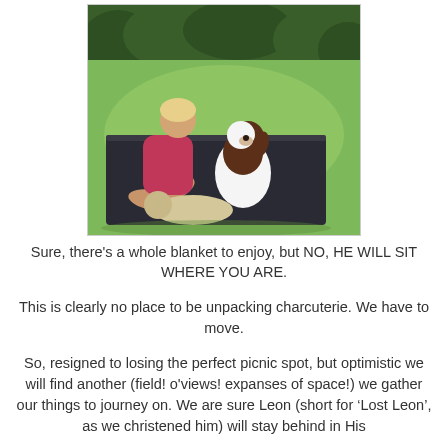[Figure (photo): A smiling blonde woman in a pink top sits on a dark blanket on green grass, with a brown and white Springer Spaniel sitting on her lap and another dog lying beside her. Trees are visible in the background.]
Sure, there's a whole blanket to enjoy, but NO, HE WILL SIT WHERE YOU ARE.
This is clearly no place to be unpacking charcuterie. We have to move.
So, resigned to losing the perfect picnic spot, but optimistic we will find another (field! o'views! expanses of space!) we gather our things to journey on. We are sure Leon (short for 'Lost Leon', as we christened him) will stay behind in His